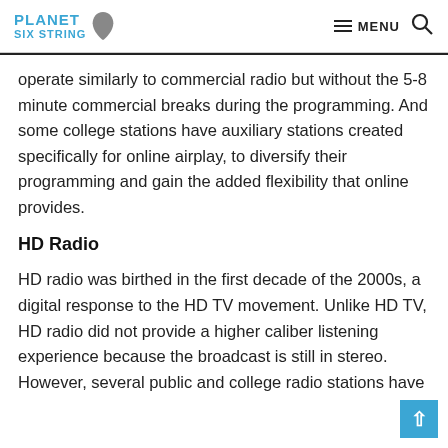PLANET SIX STRING — MENU [search]
operate similarly to commercial radio but without the 5-8 minute commercial breaks during the programming. And some college stations have auxiliary stations created specifically for online airplay, to diversify their programming and gain the added flexibility that online provides.
HD Radio
HD radio was birthed in the first decade of the 2000s, a digital response to the HD TV movement. Unlike HD TV, HD radio did not provide a higher caliber listening experience because the broadcast is still in stereo. However, several public and college radio stations have